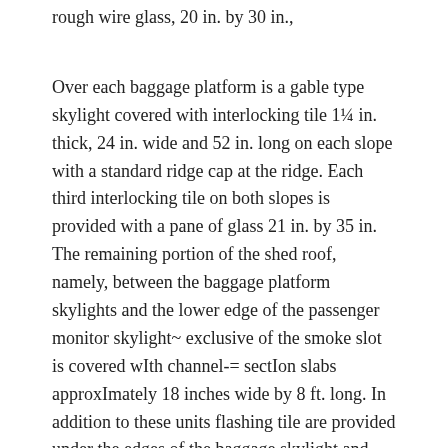rough wire glass, 20 in. by 30 in.,
Over each baggage platform is a gable type skylight covered with interlocking tile 1¼ in. thick, 24 in. wide and 52 in. long on each slope with a standard ridge cap at the ridge. Each third interlocking tile on both slopes is provided with a pane of glass 21 in. by 35 in. The remaining portion of the shed roof, namely, between the baggage platform skylights and the lower edge of the passenger monitor skylight~ exclusive of the smoke slot is covered wIth channel-= sectIon slabs approxImately 18 inches wide by 8 ft. long. In addition to these units flashing tile are provided under the edges of the baggage skylight and under the hood over the passenger monitor. The channel slabs form gutters which provide the drainage for the roof, emptying into down spouts at the low end of each block. The gutters are provided